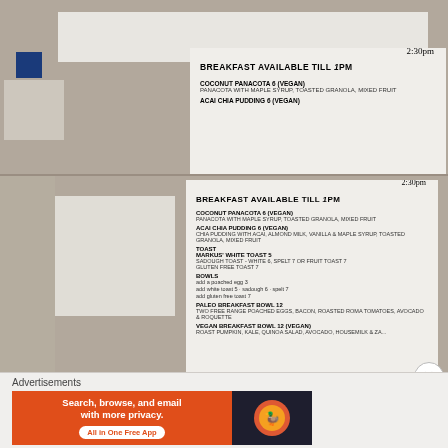[Figure (photo): Top portion of a restaurant menu card on a stone/tile surface showing 'BREAKFAST AVAILABLE TILL 1PM' with handwritten '2:30pm' correction, listing COCONUT PANACOTA and ACAI CHIA PUDDING items]
[Figure (photo): Main photo of restaurant menu card on stone surface showing full breakfast menu including BREAKFAST AVAILABLE TILL 1PM (corrected to 2:30pm), COCONUT PANACOTA, ACAI CHIA PUDDING, TOAST section, BOWLS section, PALEO BREAKFAST BOWL 12, VEGAN BREAKFAST BOWL 12]
Advertisements
[Figure (infographic): DuckDuckGo advertisement banner: 'Search, browse, and email with more privacy. All in One Free App' on orange background with DuckDuckGo logo on dark background]